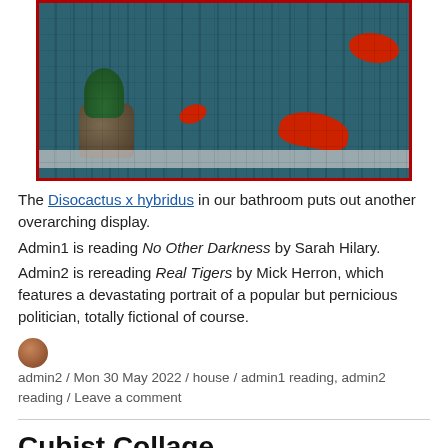[Figure (photo): Photo of a Disocactus x hybridus plant in a pot on a tiled bathroom windowsill with red flowers scattered around]
The Disocactus x hybridus in our bathroom puts out another overarching display.
Admin1 is reading No Other Darkness by Sarah Hilary.
Admin2 is rereading Real Tigers by Mick Herron, which features a devastating portrait of a popular but pernicious politician, totally fictional of course.
admin2 / Mon 30 May 2022 / house / admin1 reading, admin2 reading / Leave a comment
Cubist Collage
[Figure (photo): Photo of a piano keyboard, guitar body, and books arranged together in a cubist collage style]